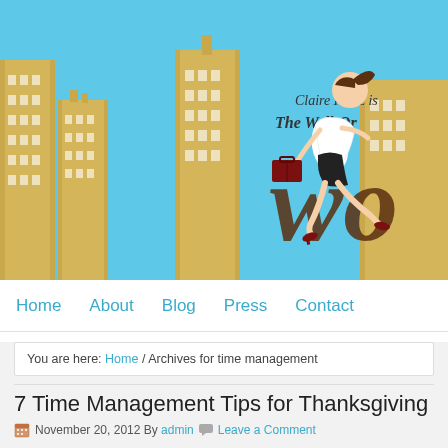[Figure (illustration): Website banner with light blue background showing golden city skyline buildings and a cartoon businesswoman running with a briefcase. Text reads 'Claire Kurtz is The Well-Or...' with large stylized 'wo' text partially visible on right side.]
Home   About   Blog   Press   Contact
You are here: Home / Archives for time management
7 Time Management Tips for Thanksgiving
November 20, 2012 By admin  Leave a Comment